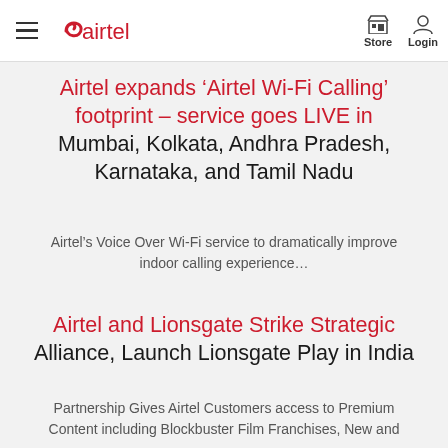airtel — Store | Login
Airtel expands ‘Airtel Wi-Fi Calling’ footprint – service goes LIVE in Mumbai, Kolkata, Andhra Pradesh, Karnataka, and Tamil Nadu
Airtel’s Voice Over Wi-Fi service to dramatically improve indoor calling experience…
Airtel and Lionsgate Strike Strategic Alliance, Launch Lionsgate Play in India
Partnership Gives Airtel Customers access to Premium Content including Blockbuster Film Franchises, New and